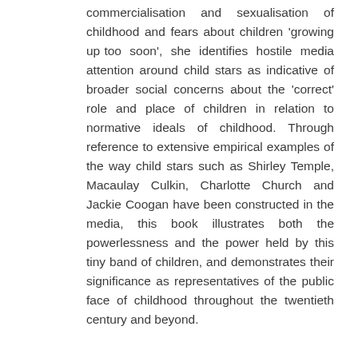commercialisation and sexualisation of childhood and fears about children 'growing up too soon', she identifies hostile media attention around child stars as indicative of broader social concerns about the 'correct' role and place of children in relation to normative ideals of childhood. Through reference to extensive empirical examples of the way child stars such as Shirley Temple, Macaulay Culkin, Charlotte Church and Jackie Coogan have been constructed in the media, this book illustrates both the powerlessness and the power held by this tiny band of children, and demonstrates their significance as representatives of the public face of childhood throughout the twentieth century and beyond.